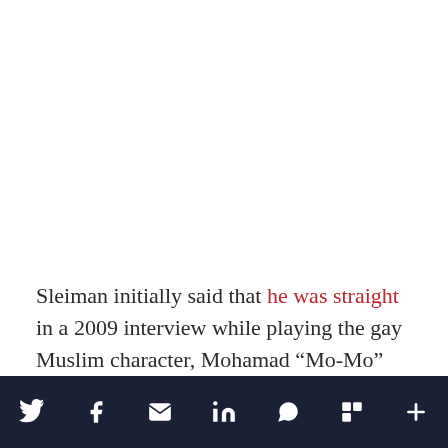Sleiman initially said that he was straight in a 2009 interview while playing the gay Muslim character, Mohamad “Mo-Mo” De La Cruz, in Showtime’s medical comedy-drama series Nurse Jackie. In August 2017, Sleiman publicly came out as gay.
Social share bar with Twitter, Facebook, Email, LinkedIn, WhatsApp, Flipboard, More icons